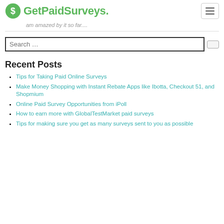GetPaidSurveys.
am amazed by it so far....
Search ...
Recent Posts
Tips for Taking Paid Online Surveys
Make Money Shopping with Instant Rebate Apps like Ibotta, Checkout 51, and Shopmium
Online Paid Survey Opportunities from iPoll
How to earn more with GlobalTestMarket paid surveys
Tips for making sure you get as many surveys sent to you as possible